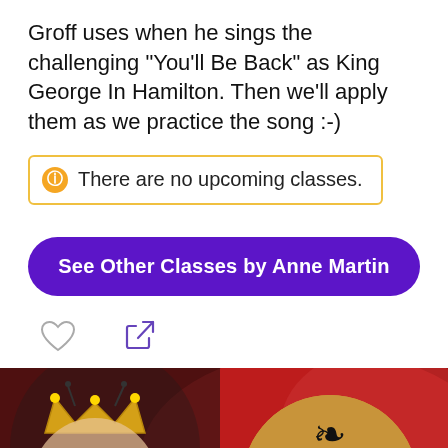Groff uses when he sings the challenging "You'll Be Back" as King George In Hamilton. Then we'll apply them as we practice the song :-)
There are no upcoming classes.
See Other Classes by Anne Martin
[Figure (screenshot): Promotional image for 'You'll Be Back' class featuring a woman wearing a crown and ladybug costume with a magnifying glass, red dramatic background, and circular gold logo with decorative fleur-de-lis symbol and script text 'You'll Be']